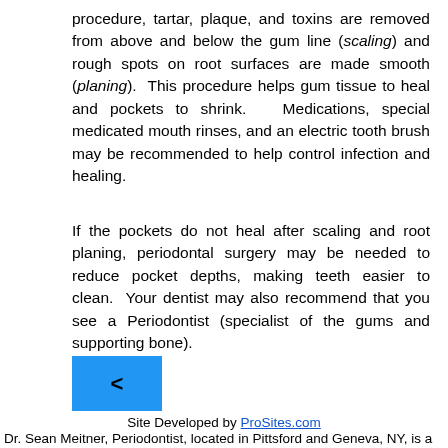procedure, tartar, plaque, and toxins are removed from above and below the gum line (scaling) and rough spots on root surfaces are made smooth (planing). This procedure helps gum tissue to heal and pockets to shrink. Medications, special medicated mouth rinses, and an electric tooth brush may be recommended to help control infection and healing.
If the pockets do not heal after scaling and root planing, periodontal surgery may be needed to reduce pocket depths, making teeth easier to clean. Your dentist may also recommend that you see a Periodontist (specialist of the gums and supporting bone).
[Figure (other): A blue square navigation button with a left-pointing arrow (<) symbol]
Site Developed by ProSites.com
Dr. Sean Meitner, Periodontist, located in Pittsford and Geneva, NY, is a dedicated periodontics who specializes in the treatment of periodontal disease diagnosis, dental implants, bone grafting, crown lengthening, sinus